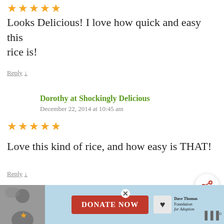[Figure (other): Five gold star rating]
Looks Delicious! I love how quick and easy this rice is!
Reply ↓
Dorothy at Shockingly Delicious
December 22, 2014 at 10:45 am
[Figure (other): Five gold star rating]
Love this kind of rice, and how easy is THAT!
Reply ↓
Toni | Boulderlocavore.com
December 20, 2014 at 9:44 am
[Figure (other): What's Next widget showing Layered Taco Dip Recipe with share button]
[Figure (other): Advertisement banner: Donate Now - Dave Thomas Foundation for Adoption]